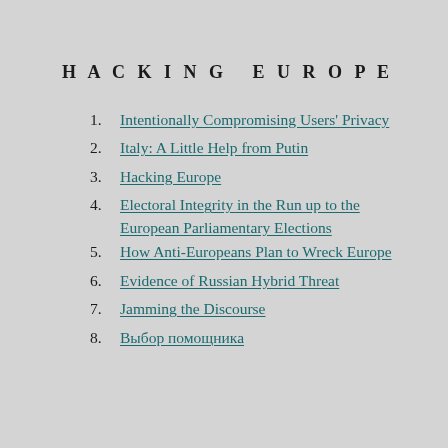HACKING EUROPE
Intentionally Compromising Users' Privacy
Italy: A Little Help from Putin
Hacking Europe
Electoral Integrity in the Run up to the European Parliamentary Elections
How Anti-Europeans Plan to Wreck Europe
Evidence of Russian Hybrid Threat
Jamming the Discourse
Выбор помощника